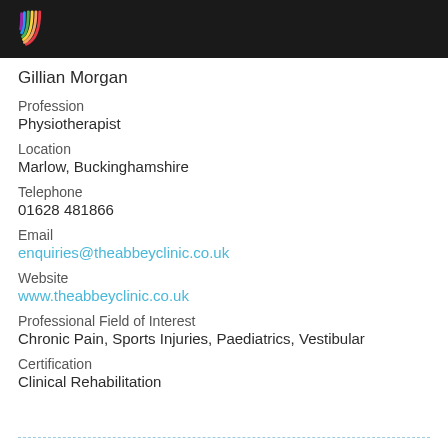[Figure (logo): Colorful arc/rainbow logo on dark header bar]
Gillian Morgan
Profession
Physiotherapist
Location
Marlow, Buckinghamshire
Telephone
01628 481866
Email
enquiries@theabbeyclinic.co.uk
Website
www.theabbeyclinic.co.uk
Professional Field of Interest
Chronic Pain, Sports Injuries, Paediatrics, Vestibular
Certification
Clinical Rehabilitation